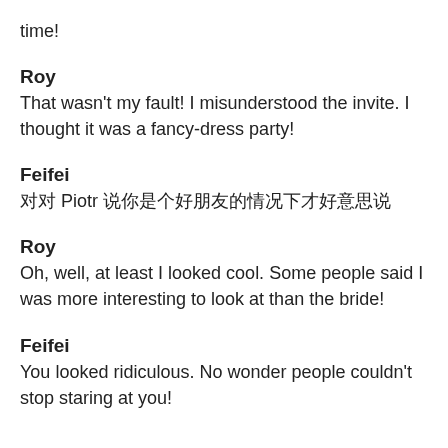time!
Roy
That wasn't my fault! I misunderstood the invite. I thought it was a fancy-dress party!
Feifei
对对 Piotr 说你是个好朋友的情况下才好意思说
Roy
Oh, well, at least I looked cool. Some people said I was more interesting to look at than the bride!
Feifei
You looked ridiculous. No wonder people couldn't stop staring at you!